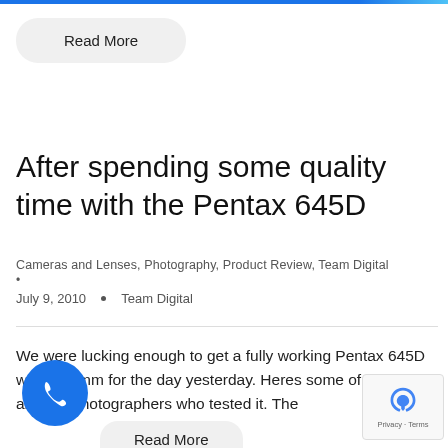[Figure (other): Blue horizontal progress/header bar at top of page]
Read More
After spending some quality time with the Pentax 645D
Cameras and Lenses, Photography, Product Review, Team Digital
•
July 9, 2010 • Team Digital
We were lucking enough to get a fully working Pentax 645D with a 55mm for the day yesterday. Heres some of our th...s and the photographers who tested it. The
Read More